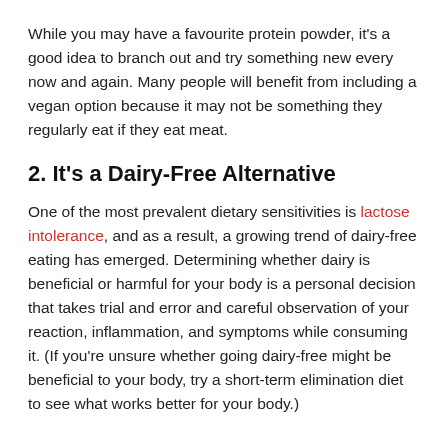While you may have a favourite protein powder, it's a good idea to branch out and try something new every now and again. Many people will benefit from including a vegan option because it may not be something they regularly eat if they eat meat.
2. It's a Dairy-Free Alternative
One of the most prevalent dietary sensitivities is lactose intolerance, and as a result, a growing trend of dairy-free eating has emerged. Determining whether dairy is beneficial or harmful for your body is a personal decision that takes trial and error and careful observation of your reaction, inflammation, and symptoms while consuming it. (If you're unsure whether going dairy-free might be beneficial to your body, try a short-term elimination diet to see what works better for your body.)